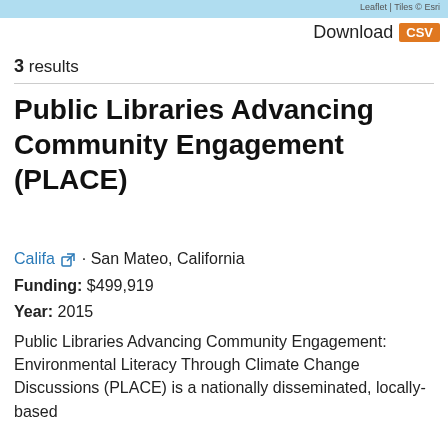[Figure (screenshot): Blue map strip at top of page with Leaflet/Tiles credit text on right]
Download CSV
3 results
Public Libraries Advancing Community Engagement (PLACE)
Califa · San Mateo, California
Funding: $499,919
Year: 2015
Public Libraries Advancing Community Engagement: Environmental Literacy Through Climate Change Discussions (PLACE) is a nationally disseminated, locally-based